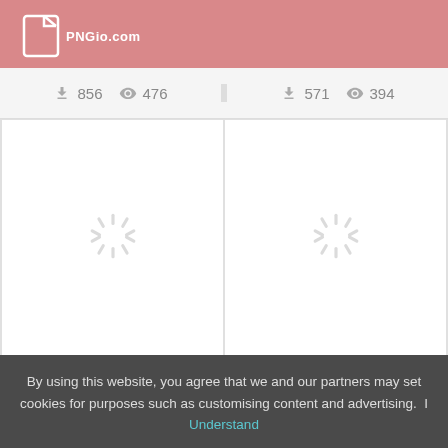PNGio.com
[Figure (screenshot): Partial stats bar showing download count 856 and view count 476 on left, download count 571 and view count 394 on right]
[Figure (screenshot): Loading spinner placeholder image for Dental Clipart]
Dental Clipart
855  450
[Figure (screenshot): Loading spinner placeholder image for Coin Clipart]
Coin Clipart
800  396
By using this website, you agree that we and our partners may set cookies for purposes such as customising content and advertising.  I Understand